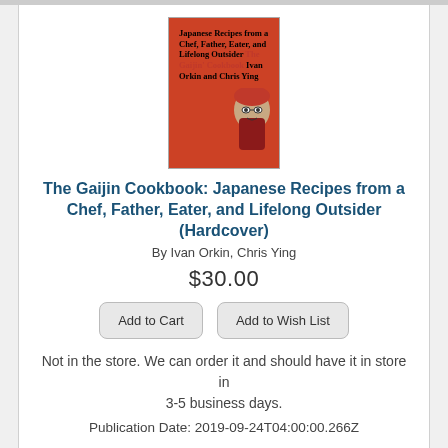[Figure (illustration): Book cover for The Gaijin Cookbook: Japanese Recipes from a Chef, Father, Eater, and Lifelong Outsider. Red background with bold black text and an illustrated person with glasses.]
The Gaijin Cookbook: Japanese Recipes from a Chef, Father, Eater, and Lifelong Outsider (Hardcover)
By Ivan Orkin, Chris Ying
$30.00
Add to Cart
Add to Wish List
Not in the store. We can order it and should have it in store in 3-5 business days.
Publication Date: 2019-09-24T04:00:00.266Z
[Figure (illustration): Partial book cover for Today's Menu for the Emiya Family at bottom of page.]